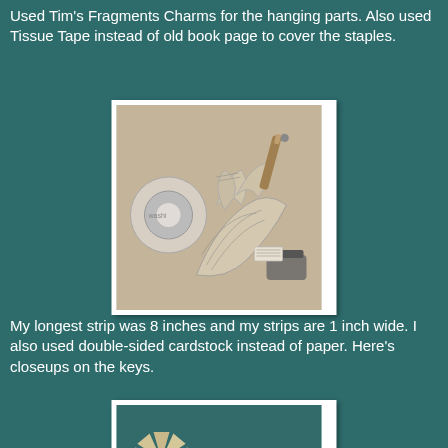Used Tim's Fragments Charms for the hanging parts. Also used Tissue Tape instead of old book page to cover the staples.
[Figure (photo): Paper strip sculpture/folded paper art with washi tape roll, pen and other craft supplies on a brown surface]
My longest strip was 8 inches and my strips are 1 inch wide. I also used double-sided cardstock instead of paper. Here's closeups on the keys.
[Figure (photo): Closeup of a decorative metal skeleton key with paper folded flower/star embellishment and small tag, on teal background]